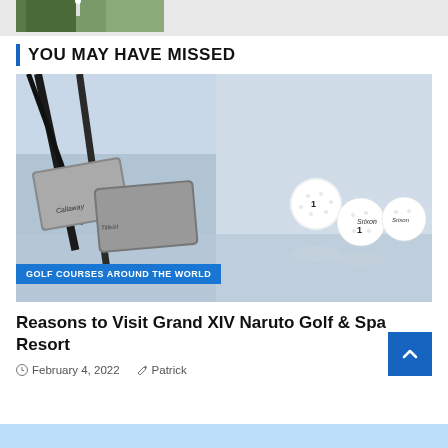[Figure (photo): Partial view of golf course image thumbnail at top of page]
YOU MAY HAVE MISSED
[Figure (photo): Close-up photo of golf clubs and golf balls. A badge overlay reads: GOLF COURSES AROUND THE WORLD]
Reasons to Visit Grand XIV Naruto Golf & Spa Resort
February 4, 2022   Patrick